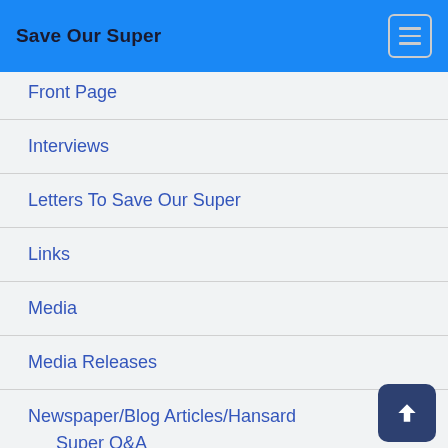Save Our Super
Front Page
Interviews
Letters To Save Our Super
Links
Media
Media Releases
Newspaper/Blog Articles/Hansard
Super Q&A
Quotes
Save Our Super Articles
Save Our Super Meetings